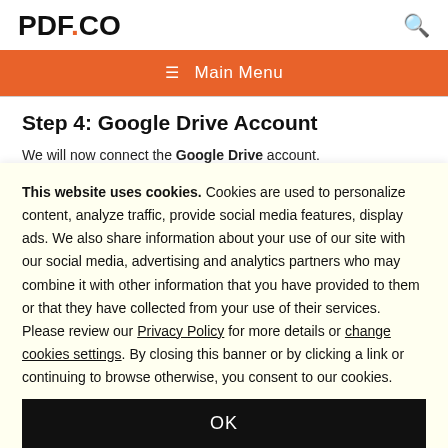PDF.CO
≡ Main Menu
Step 4: Google Drive Account
We will now connect the Google Drive account.
This website uses cookies. Cookies are used to personalize content, analyze traffic, provide social media features, display ads. We also share information about your use of our site with our social media, advertising and analytics partners who may combine it with other information that you have provided to them or that they have collected from your use of their services. Please review our Privacy Policy for more details or change cookies settings. By closing this banner or by clicking a link or continuing to browse otherwise, you consent to our cookies.
OK